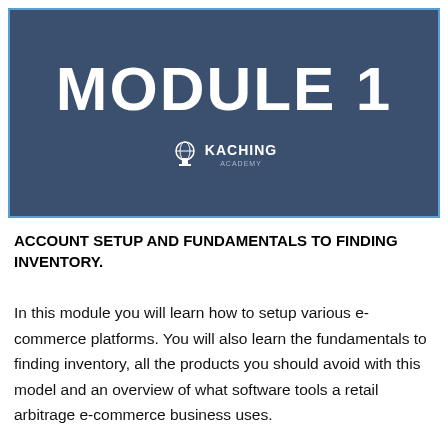[Figure (illustration): Dark blue banner with bold white text reading MODULE 1 and a Kaching Academy logo at the bottom center]
ACCOUNT SETUP AND FUNDAMENTALS TO FINDING INVENTORY.
In this module you will learn how to setup various e-commerce platforms. You will also learn the fundamentals to finding inventory, all the products you should avoid with this model and an overview of what software tools a retail arbitrage e-commerce business uses.